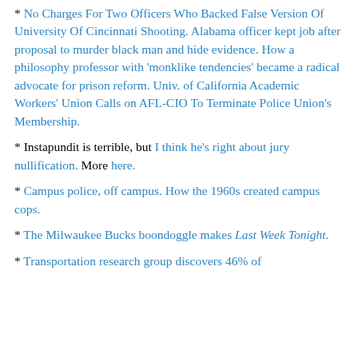* No Charges For Two Officers Who Backed False Version Of University Of Cincinnati Shooting. Alabama officer kept job after proposal to murder black man and hide evidence. How a philosophy professor with 'monklike tendencies' became a radical advocate for prison reform. Univ. of California Academic Workers' Union Calls on AFL-CIO To Terminate Police Union's Membership.
* Instapundit is terrible, but I think he's right about jury nullification. More here.
* Campus police, off campus. How the 1960s created campus cops.
* The Milwaukee Bucks boondoggle makes Last Week Tonight.
* Transportation research group discovers 46% of